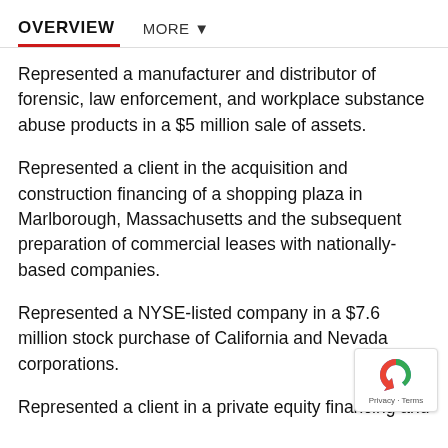OVERVIEW   MORE ▼
Represented a manufacturer and distributor of forensic, law enforcement, and workplace substance abuse products in a $5 million sale of assets.
Represented a client in the acquisition and construction financing of a shopping plaza in Marlborough, Massachusetts and the subsequent preparation of commercial leases with nationally-based companies.
Represented a NYSE-listed company in a $7.6 million stock purchase of California and Nevada corporations.
Represented a client in a private equity financing and